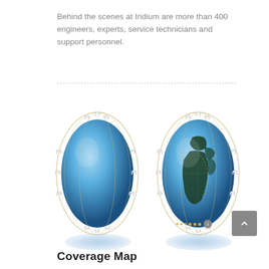Behind the scenes at Iridium are more than 400 engineers, experts, service technicians and support personnel.
[Figure (illustration): Two globe illustrations showing the Iridium satellite constellation orbiting Earth, with satellite markers positioned around the orbits over global map views. Each globe has a blue shadow ellipse beneath it.]
Coverage Map